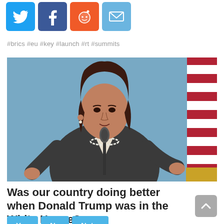[Figure (other): Social media share icons: Twitter (blue bird), Facebook (blue f), Reddit (orange alien face), Email (blue envelope)]
#brics #eu #key #launch #rt #summits
[Figure (photo): A woman in a dark pinstripe blazer and pearl necklace speaking at a podium with a microphone, gesturing with both hands, in front of a blue backdrop with a partial US flag visible on the right side.]
Was our country doing better when Donald Trump was in the White House?
[Figure (other): Scroll-to-top button (upward arrow icon, gray rounded square)]
Yes  No  Not...